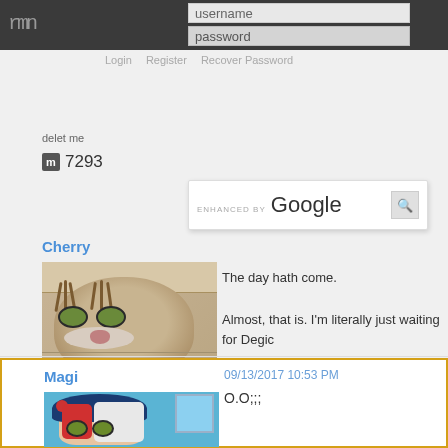rmn — username / password login bar
delet me
Login   Register   Recover Password
m 7293
[Figure (screenshot): ENHANCED BY Google search box overlay]
Cherry
[Figure (photo): Photo of a gray tabby cat looking at the camera, lying on a wooden floor]
RPG Maker Bender
m 1140
The day hath come.

Almost, that is. I'm literally just waiting for Degic
Magi
09/13/2017 10:53 PM
O.O;;;
[Figure (illustration): Anime-style illustration of a girl with dark hair, red flower hair clip, sitting in a red chair, with a window in the background]